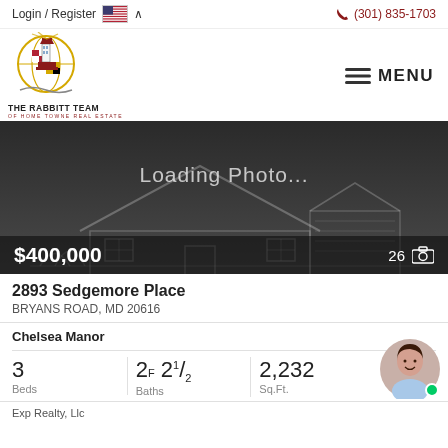Login / Register  🇺🇸 ∨    ☎ (301) 835-1703
[Figure (logo): The Rabbitt Team of Home Towne Real Estate lighthouse logo]
[Figure (photo): Loading Photo... placeholder image of a house outline on dark background. Price: $400,000. Photo count: 26.]
2893 Sedgemore Place
BRYANS ROAD, MD 20616
Chelsea Manor
3 Beds   2F 21/2 Baths   2,232 Sq.Ft.
Exp Realty, Llc